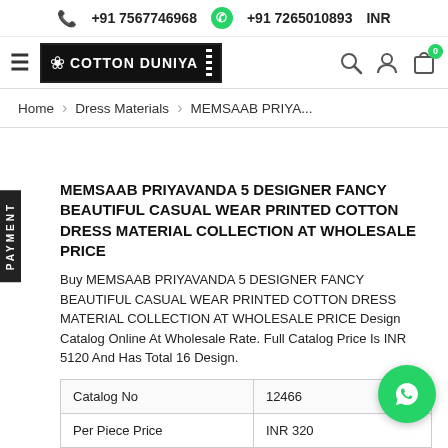+91 7567746968  +91 7265010893  INR
[Figure (logo): Cotton Duniya logo with lotus icon, black background, navigation icons (search, user, cart with 0 badge)]
Home > Dress Materials > MEMSAAB PRIYA...
MEMSAAB PRIYAVANDA 5 DESIGNER FANCY BEAUTIFUL CASUAL WEAR PRINTED COTTON DRESS MATERIAL COLLECTION AT WHOLESALE PRICE
Buy MEMSAAB PRIYAVANDA 5 DESIGNER FANCY BEAUTIFUL CASUAL WEAR PRINTED COTTON DRESS MATERIAL COLLECTION AT WHOLESALE PRICE Design Catalog Online At Wholesale Rate. Full Catalog Price Is INR 5120 And Has Total 16 Design.
| Catalog No | 12466 |
| Per Piece Price | INR 320 |
| Full Catalog Price | INR 5120 |
| Total Design | 16 |